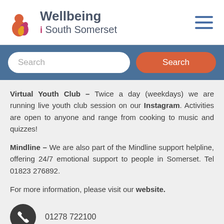[Figure (logo): Wellbeing South Somerset logo with stylized figures in orange and purple]
Wellbeing South Somerset
Search
Virtual Youth Club – Twice a day (weekdays) we are running live youth club session on our Instagram. Activities are open to anyone and range from cooking to music and quizzes!
Mindline – We are also part of the Mindline support helpline, offering 24/7 emotional support to people in Somerset. Tel 01823 276892.
For more information, please visit our website.
01278 722100